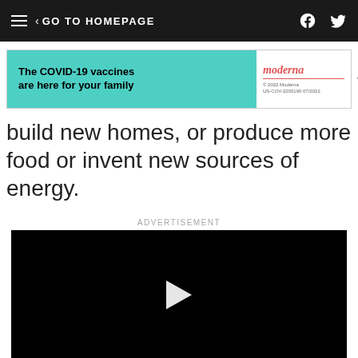GO TO HOMEPAGE
[Figure (screenshot): Moderna COVID-19 vaccine advertisement banner. Left side cyan/teal background with bold text: 'The COVID-19 vaccines are here for your family'. Right side white background with Moderna logo in red italic, copyright 2022 Moderna, US-COV-2200190 07/2022.]
build new homes, or produce more food or invent new sources of energy.
ADVERTISEMENT
[Figure (screenshot): Video player with black background and white play button triangle in center, with a 'Learn more' button below on a light grey background.]